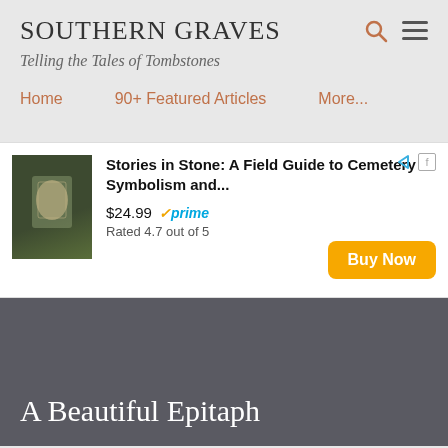SOUTHERN GRAVES
Telling the Tales of Tombstones
Home
90+ Featured Articles
More...
[Figure (other): Amazon advertisement for 'Stories in Stone: A Field Guide to Cemetery Symbolism and...' priced at $24.99 with Prime, Rated 4.7 out of 5, with a Buy Now button]
A Beautiful Epitaph